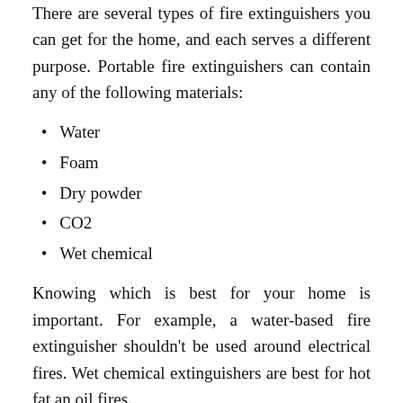There are several types of fire extinguishers you can get for the home, and each serves a different purpose. Portable fire extinguishers can contain any of the following materials:
Water
Foam
Dry powder
CO2
Wet chemical
Knowing which is best for your home is important. For example, a water-based fire extinguisher shouldn't be used around electrical fires. Wet chemical extinguishers are best for hot fat an oil fires.